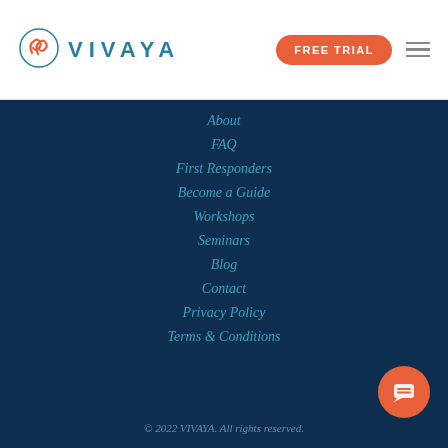[Figure (logo): Vivaya logo with swirl icon and teal VIVAYA wordmark]
FREE TRIAL
About
FAQ
First Responders
Become a Guide
Workshops
Seminars
Blog
Contact
Privacy Policy
Terms & Conditions
© 2022 VIVAYA. All rights reserved.